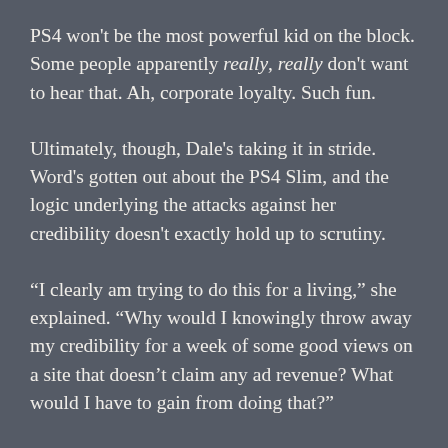PS4 won't be the most powerful kid on the block. Some people apparently really, really don't want to hear that. Ah, corporate loyalty. Such fun.
Ultimately, though, Dale's taking it in stride. Word's gotten out about the PS4 Slim, and the logic underlying the attacks against her credibility doesn't exactly hold up to scrutiny.
“I clearly am trying to do this for a living,” she explained. “Why would I knowingly throw away my credibility for a week of some good views on a site that doesn’t claim any ad revenue? What would I have to gain from doing that?”